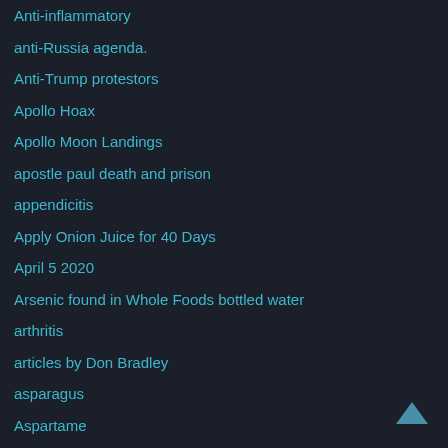Anti-inflammatory
anti-Russia agenda.
Anti-Trump protestors
Apollo Hoax
Apollo Moon Landings
apostle paul death and prison
appendicitis
Apply Onion Juice for 40 Days
April 5 2020
Arsenic found in Whole Foods bottled water
arthritis
articles by Don Bradley
asparagus
Aspartame
Aspartame has changed the name to AminoSweet